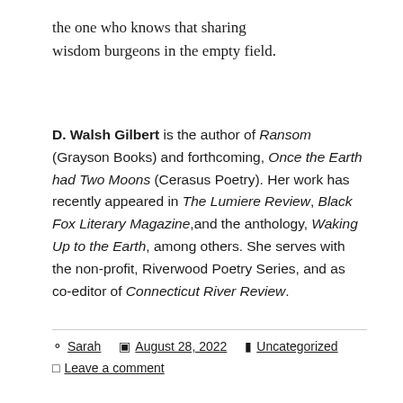the one who knows that sharing
wisdom burgeons in the empty field.
D. Walsh Gilbert is the author of Ransom (Grayson Books) and forthcoming, Once the Earth had Two Moons (Cerasus Poetry). Her work has recently appeared in The Lumiere Review, Black Fox Literary Magazine,and the anthology, Waking Up to the Earth, among others. She serves with the non-profit, Riverwood Poetry Series, and as co-editor of Connecticut River Review.
Sarah  August 28, 2022  Uncategorized  Leave a comment